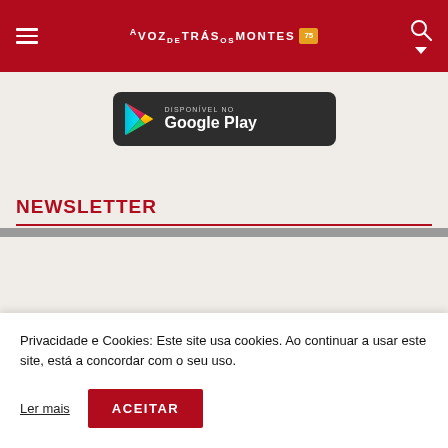A VOZ DE TRÁS-OS-MONTES 75
[Figure (logo): Google Play store badge — dark rounded rectangle with Play triangle icon and text 'DISPONÍVEL NO Google Play']
NEWSLETTER
Privacidade e Cookies: Este site usa cookies. Ao continuar a usar este site, está a concordar com o seu uso.
Ler mais   ACEITAR